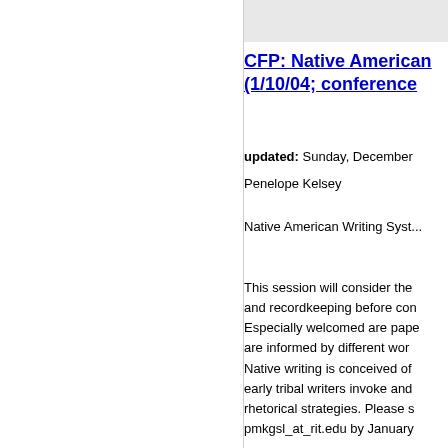CFP: Native American... (1/10/04; conference...
updated: Sunday, December...
Penelope Kelsey
Native American Writing Syst...
This session will consider the... and recordkeeping before con... Especially welcomed are pape... are informed by different wor... Native writing is conceived of... early tribal writers invoke and... rhetorical strategies. Please s... pmkgsl_at_rit.edu by January...